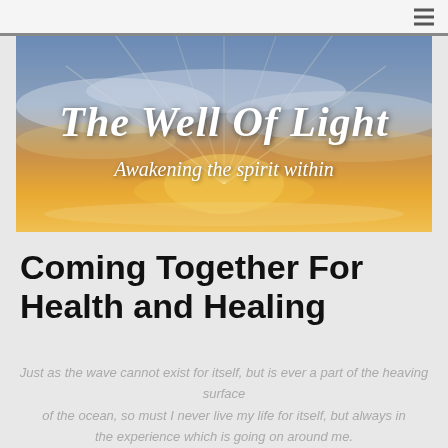[Figure (illustration): Banner image of a golden sunset sky with the text 'The Well Of Light' in large white script and 'Awakening the spirit within' in smaller white script below it.]
Coming Together For Health and Healing
Just as the wave cannot exist for itself, but is ever a part of the heaving surface of the ocean, so must I never live my life for itself, but always in the experience which is going on around me.